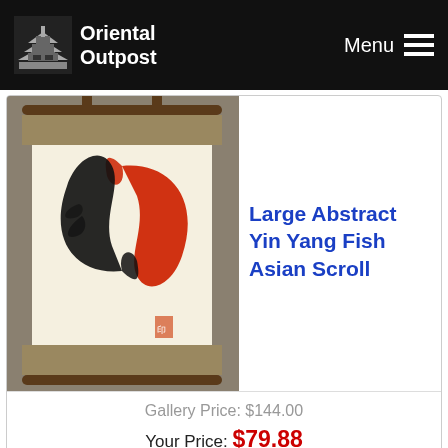Oriental Outpost | Menu
[Figure (photo): A hanging Asian scroll featuring abstract yin yang fish design with black and red fish intertwined on cream background, mounted on tan/brown brocade scroll.]
Large Abstract Yin Yang Fish Asian Scroll
Gallery Price: $144.00
Your Price: $79.88
More Info